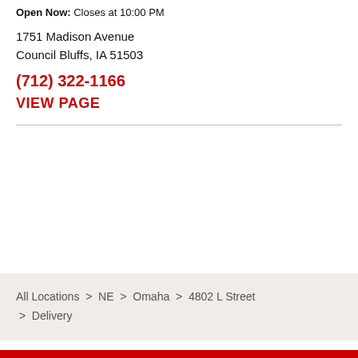Open Now: Closes at 10:00 PM
1751 Madison Avenue
Council Bluffs, IA 51503
(712) 322-1166
VIEW PAGE
All Locations > NE > Omaha > 4802 L Street > Delivery